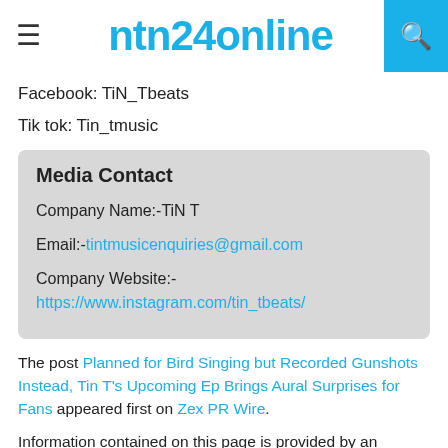ntn24online
Facebook: TiN_Tbeats
Tik tok: Tin_tmusic
| Company Name:-TiN T |
| Email:-tintmusicenquiries@gmail.com |
| Company Website:-https://www.instagram.com/tin_tbeats/ |
The post Planned for Bird Singing but Recorded Gunshots Instead, Tin T's Upcoming Ep Brings Aural Surprises for Fans appeared first on Zex PR Wire.
Information contained on this page is provided by an independent third-party content provider. Please Note